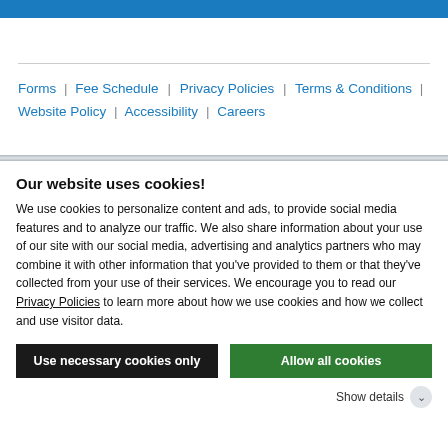[Figure (other): Blue banner/header bar at top of page]
Forms | Fee Schedule | Privacy Policies | Terms & Conditions | Website Policy | Accessibility | Careers
Our website uses cookies!
We use cookies to personalize content and ads, to provide social media features and to analyze our traffic. We also share information about your use of our site with our social media, advertising and analytics partners who may combine it with other information that you've provided to them or that they've collected from your use of their services. We encourage you to read our Privacy Policies to learn more about how we use cookies and how we collect and use visitor data.
Use necessary cookies only
Allow all cookies
Show details